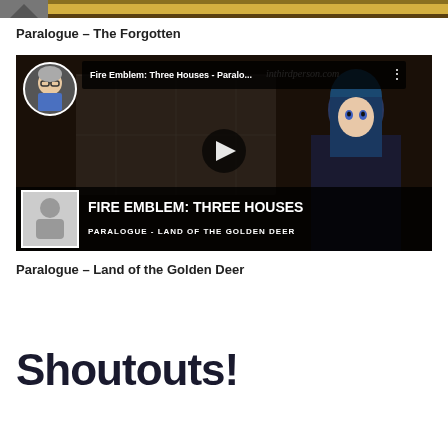[Figure (screenshot): Partial top image cropped at top of page showing a decorative gold/brown banner or game UI element with a mountain icon thumbnail on the left]
Paralogue – The Forgotten
[Figure (screenshot): YouTube video thumbnail embed for 'Fire Emblem: Three Houses - Paralo...' showing the game title 'FIRE EMBLEM: THREE HOUSES' and subtitle 'PARALOGUE - LAND OF THE GOLDEN DEER' with an anime character with blue hair on the right, a play button in the center, channel avatar in top-left, watermark 'inthirdperson.com' in top-right]
Paralogue – Land of the Golden Deer
Shoutouts!